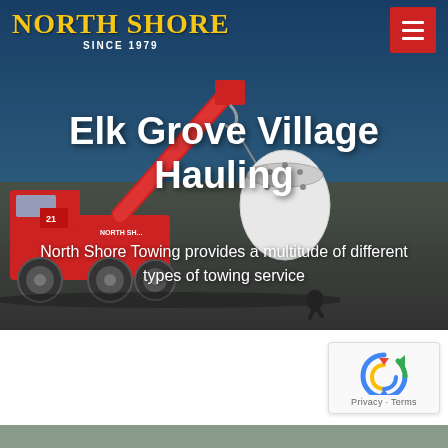[Figure (photo): North Shore Towing website screenshot showing a red heavy-duty tow truck lifting a large white cylindrical industrial object on a street, with a worker nearby. Blue sky background. Hero section of website for Elk Grove Village Hauling service.]
Elk Grove Village Hauling
North Shore Towing provides a multitude of different types of towing service